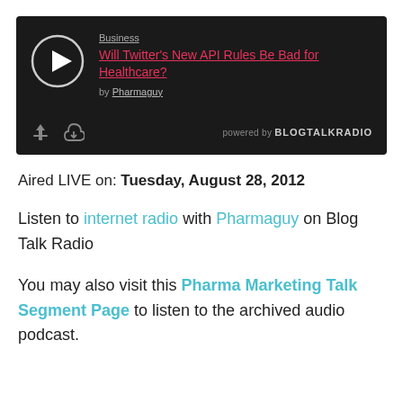[Figure (screenshot): BlogTalkRadio embedded audio player widget with dark background showing play button, episode title 'Will Twitter's New API Rules Be Bad for Healthcare?' under category 'Business', by Pharmaguy, with share/download icons and 'powered by BLOGTALKRADIO' branding.]
Aired LIVE on: Tuesday, August 28, 2012
Listen to internet radio with Pharmaguy on Blog Talk Radio
You may also visit this Pharma Marketing Talk Segment Page to listen to the archived audio podcast.